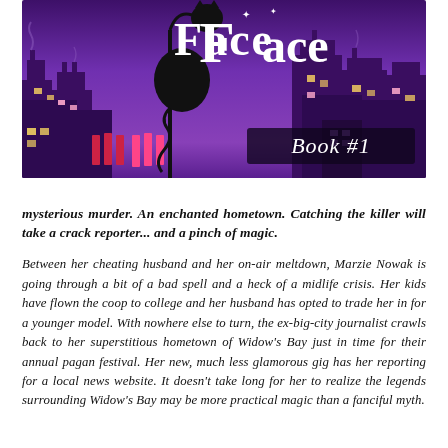[Figure (illustration): Book cover illustration for a cozy mystery novel. Purple cityscape background with silhouetted buildings at night. A black cat silhouette hanging from a bent lamp post. Text 'Face' in white serif font at top center with decorative stars. A dark banner at bottom right reads 'Book #1' in white italic script. Colorful lit windows dot the buildings. Red and pink fence/bar elements in the foreground.]
mysterious murder. An enchanted hometown. Catching the killer will take a crack reporter... and a pinch of magic.
Between her cheating husband and her on-air meltdown, Marzie Nowak is going through a bit of a bad spell and a heck of a midlife crisis. Her kids have flown the coop to college and her husband has opted to trade her in for a younger model. With nowhere else to turn, the ex-big-city journalist crawls back to her superstitious hometown of Widow's Bay just in time for their annual pagan festival. Her new, much less glamorous gig has her reporting for a local news website. It doesn't take long for her to realize the legends surrounding Widow's Bay may be more practical magic than a fanciful myth.